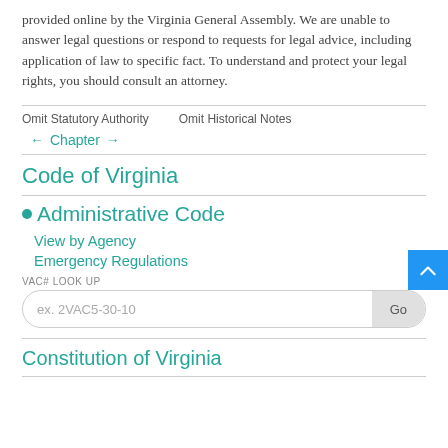provided online by the Virginia General Assembly. We are unable to answer legal questions or respond to requests for legal advice, including application of law to specific fact. To understand and protect your legal rights, you should consult an attorney.
Omit Statutory Authority   Omit Historical Notes
← Chapter →
Code of Virginia
• Administrative Code
View by Agency
Emergency Regulations
VAC# LOOK UP
ex. 2VAC5-30-10
Constitution of Virginia